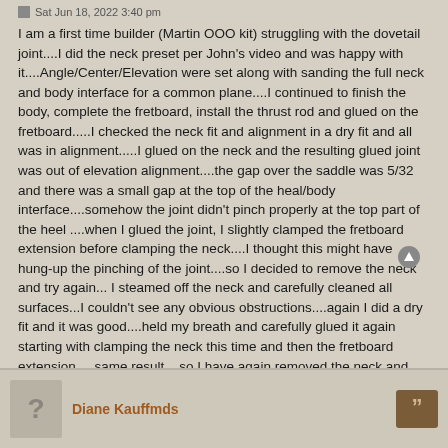Sat Jun 18, 2022 3:40 pm
I am a first time builder (Martin OOO kit) struggling with the dovetail joint....I did the neck preset per John's video and was happy with it....Angle/Center/Elevation were set along with sanding the full neck and body interface for a common plane....I continued to finish the body, complete the fretboard, install the thrust rod and glued on the fretboard.....I checked the neck fit and alignment in a dry fit and all was in alignment.....I glued on the neck and the resulting glued joint was out of elevation alignment....the gap over the saddle was 5/32 and there was a small gap at the top of the heal/body interface....somehow the joint didn't pinch properly at the top part of the heel ....when I glued the joint, I slightly clamped the fretboard extension before clamping the neck....I thought this might have hung-up the pinching of the joint....so I decided to remove the neck and try again... I steamed off the neck and carefully cleaned all surfaces...I couldn't see any obvious obstructions....again I did a dry fit and it was good....held my breath and carefully glued it again starting with clamping the neck this time and then the fretboard extension.....same result....so I have again removed the neck and am now pondering my next move....I'm playing around with paper shims but so far haven't found a solution...any advise?
Thanks
John
Diane Kauffmds